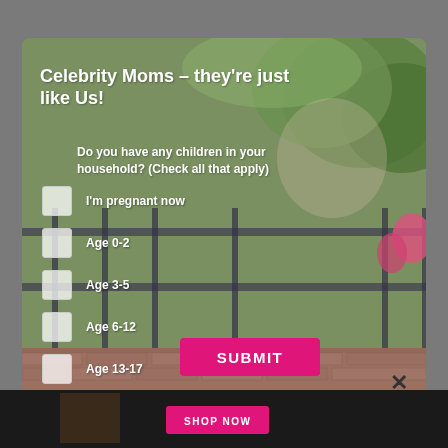Celebrity Moms – they're just like Us!
Do you have any children in your household? (Check all that apply)
I'm pregnant now
Age 0-2
Age 3-5
Age 6-12
Age 13-17
No children currently living with me
SUBMIT
SHOP NOW